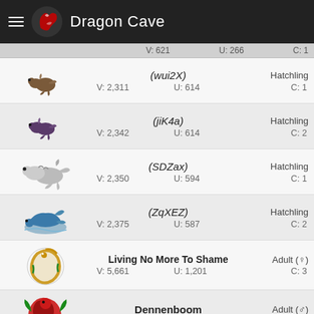Dragon Cave
V: 621   U: 266   C: 1
(wui2X) — Hatchling — V: 2,311  U: 614  C: 1
(jiK4a) — Hatchling — V: 2,342  U: 614  C: 2
(SDZax) — Hatchling — V: 2,350  U: 594  C: 1
(ZqXEZ) — Hatchling — V: 2,375  U: 587  C: 2
Living No More To Shame — Adult (♀) — V: 5,661  U: 1,201  C: 3
Dennenboom — Adult (♂) — V: 4,169  U: 1,089  C: 2
Kerstgeest — Adult (♂) — V: 4,169  U: 1,090  C: 1